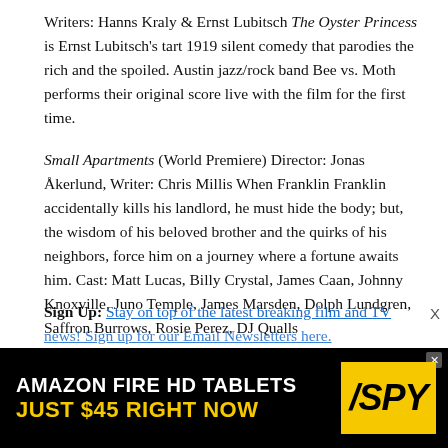Writers: Hanns Kraly & Ernst Lubitsch The Oyster Princess is Ernst Lubitsch's tart 1919 silent comedy that parodies the rich and the spoiled. Austin jazz/rock band Bee vs. Moth performs their original score live with the film for the first time.
Small Apartments (World Premiere) Director: Jonas Åkerlund, Writer: Chris Millis When Franklin Franklin accidentally kills his landlord, he must hide the body; but, the wisdom of his beloved brother and the quirks of his neighbors, force him on a journey where a fortune awaits him. Cast: Matt Lucas, Billy Crystal, James Caan, Johnny Knoxville, Juno Temple, James Marsden, Dolph Lundgren, Saffron Burrows, Rosie Perez, DJ Qualls
Sign Up: Stay on top of the latest breaking film and TV news! Sign up for our Email Newsletters here.
[Figure (other): Amazon Fire HD Tablets advertisement. Black background with white and yellow text reading 'AMAZON FIRE HD TABLETS JUST $45 RIGHT NOW' and SPY logo in yellow.]